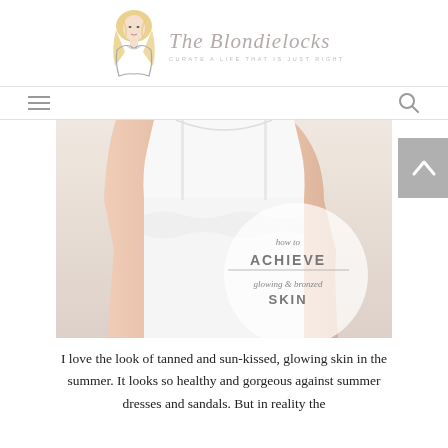[Figure (logo): The Blondielocks blog logo with illustrated blonde woman figure and italic script text reading 'The Blondielocks' with subtitle 'Curate a life that is just right']
[Figure (other): Navigation bar with hamburger menu icon on left and search magnifying glass icon on right]
[Figure (photo): Photo of a woman wearing a white spaghetti-strap ruffled top, cropped at chest/torso. Overlaid circular graphic reads 'how to ACHIEVE glowing & bronzed SKIN'. A back-to-top chevron button is visible on the right side.]
I love the look of tanned and sun-kissed, glowing skin in the summer. It looks so healthy and gorgeous against summer dresses and sandals. But in reality the